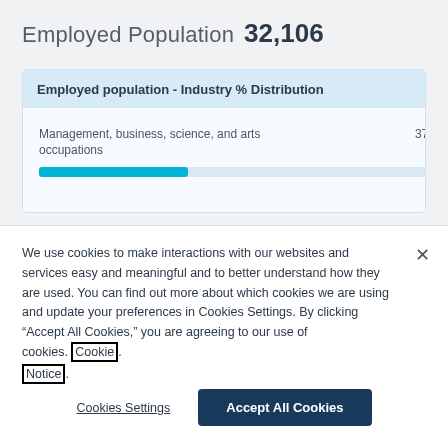Employed Population 32,106
Employed population - Industry % Distribution
[Figure (bar-chart): Employed population - Industry % Distribution]
We use cookies to make interactions with our websites and services easy and meaningful and to better understand how they are used. You can find out more about which cookies we are using and update your preferences in Cookies Settings. By clicking “Accept All Cookies,” you are agreeing to our use of cookies. Cookie Notice.
Cookies Settings
Accept All Cookies